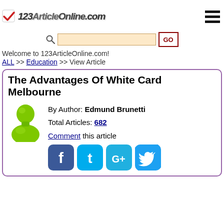[Figure (logo): 123ArticleOnline.com logo with checkmark icon and stylized italic text]
[Figure (screenshot): Hamburger menu icon (three horizontal black lines)]
[Figure (screenshot): Search bar with magnifying glass icon, orange input field, and GO button with dark red border]
Welcome to 123ArticleOnline.com!
ALL >> Education >> View Article
The Advantages Of White Card Melbourne
By Author: Edmund Brunetti
Total Articles: 682
Comment this article
[Figure (illustration): Green person/avatar silhouette icon]
[Figure (infographic): Social media icons: Facebook, Twitter/t, Google+, Twitter bird]